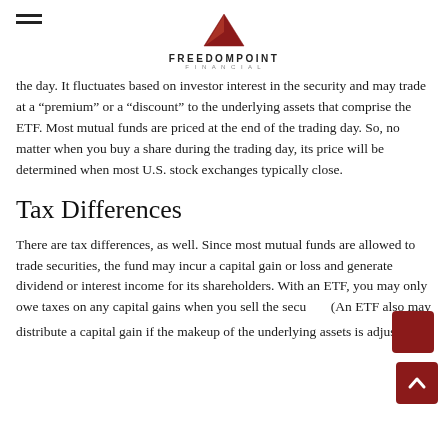FreedomPoint Financial
the day. It fluctuates based on investor interest in the security and may trade at a “premium” or a “discount” to the underlying assets that comprise the ETF. Most mutual funds are priced at the end of the trading day. So, no matter when you buy a share during the trading day, its price will be determined when most U.S. stock exchanges typically close.
Tax Differences
There are tax differences, as well. Since most mutual funds are allowed to trade securities, the fund may incur a capital gain or loss and generate dividend or interest income for its shareholders. With an ETF, you may only owe taxes on any capital gains when you sell the secu... (An ETF also may distribute a capital gain if the makeup of the underlying assets is adjusted).3